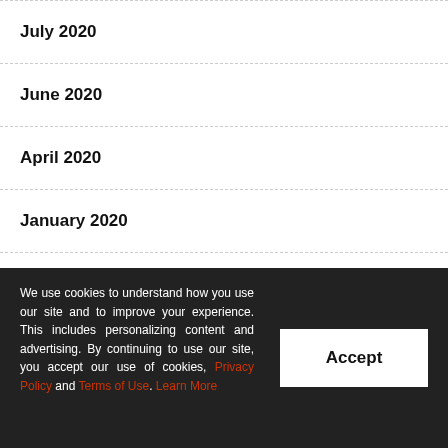July 2020
June 2020
April 2020
January 2020
December 2019
November 2019
We use cookies to understand how you use our site and to improve your experience. This includes personalizing content and advertising. By continuing to use our site, you accept our use of cookies, Privacy Policy and Terms of Use. Learn More